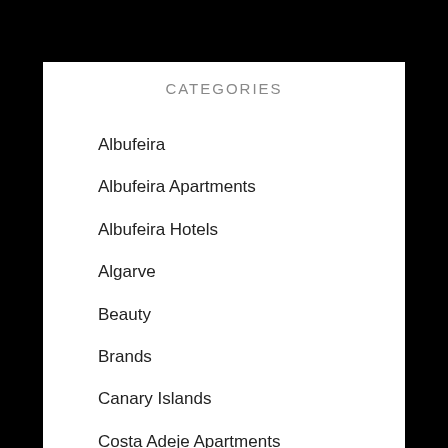CATEGORIES
Albufeira
Albufeira Apartments
Albufeira Hotels
Algarve
Beauty
Brands
Canary Islands
Costa Adeje Apartments
Costa Adeje Hotels